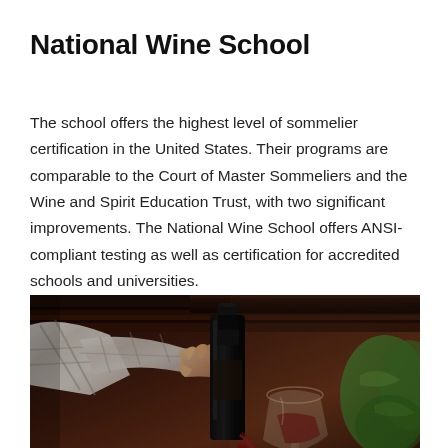National Wine School
The school offers the highest level of sommelier certification in the United States. Their programs are comparable to the Court of Master Sommeliers and the Wine and Spirit Education Trust, with two significant improvements. The National Wine School offers ANSI-compliant testing as well as certification for accredited schools and universities.
[Figure (photo): A hand in a plaid flannel shirt pouring red wine from a dark bottle into a glass, photographed in a dim, rustic indoor setting with wooden beams visible in the background and green foliage to the right.]